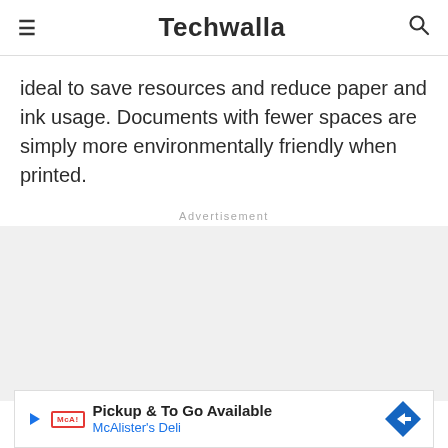Techwalla
ideal to save resources and reduce paper and ink usage. Documents with fewer spaces are simply more environmentally friendly when printed.
Advertisement
[Figure (other): Gray advertisement placeholder area]
[Figure (other): McAlister's Deli ad banner: Pickup & To Go Available, McAlister's Deli, with logo and directional arrow icon]